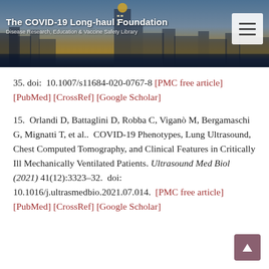The COVID-19 Long-haul Foundation
Disease Research, Education & Vaccine Safety Library
35. doi: 10.1007/s11684-020-0767-8 [PMC free article] [PubMed] [CrossRef] [Google Scholar]
15. Orlandi D, Battaglini D, Robba C, Viganò M, Bergamaschi G, Mignatti T, et al.. COVID-19 Phenotypes, Lung Ultrasound, Chest Computed Tomography, and Clinical Features in Critically Ill Mechanically Ventilated Patients. Ultrasound Med Biol (2021) 41(12):3323–32. doi: 10.1016/j.ultrasmedbio.2021.07.014. [PMC free article] [PubMed] [CrossRef] [Google Scholar]